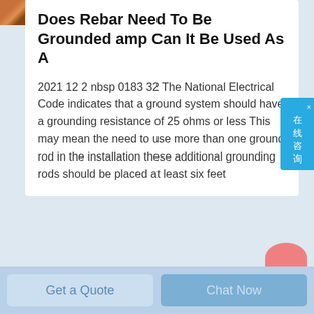[Figure (photo): Small thumbnail image in top-left corner, appears to show rebar or metallic texture in brown/orange tones]
Does Rebar Need To Be Grounded amp Can It Be Used As A
2021 12 2 nbsp 0183 32 The National Electrical Code indicates that a ground system should have a grounding resistance of 25 ohms or less This may mean the need to use more than one ground rod in the installation these additional grounding rods should be placed at least six feet
[Figure (other): Chinese online chat widget (在线咨询) in blue on right side]
[Figure (other): Partial pink/salmon colored circle at bottom right]
Get a Quote
Chat Now